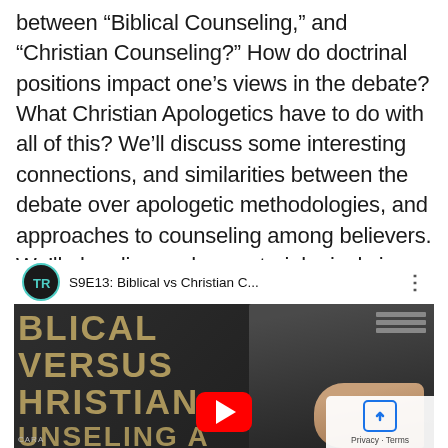between “Biblical Counseling,” and “Christian Counseling?” How do doctrinal positions impact one’s views in the debate? What Christian Apologetics have to do with all of this? We’ll discuss some interesting connections, and similarities between the debate over apologetic methodologies, and approaches to counseling among believers. We’ll also discuss how soteriological views direct the discussions.
[Figure (screenshot): YouTube video thumbnail for S9E13: Biblical vs Christian C... showing text overlay 'BIBLICAL VERSUS CHRISTIAN COUNSELING' with a play button and a TR podcast logo]